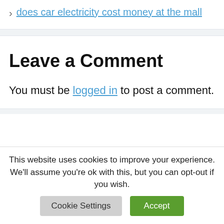> does car electricity cost money at the mall
Leave a Comment
You must be logged in to post a comment.
This website uses cookies to improve your experience. We'll assume you're ok with this, but you can opt-out if you wish.